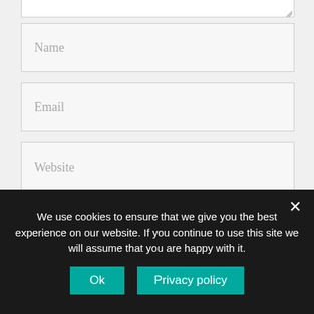[Figure (screenshot): Partial textarea input field at the top of the form]
Name
Email
Website
Save my name, email, and website in this browser for the next time I comment.
Post Comment
We use cookies to ensure that we give you the best experience on our website. If you continue to use this site we will assume that you are happy with it.
Ok
Privacy policy